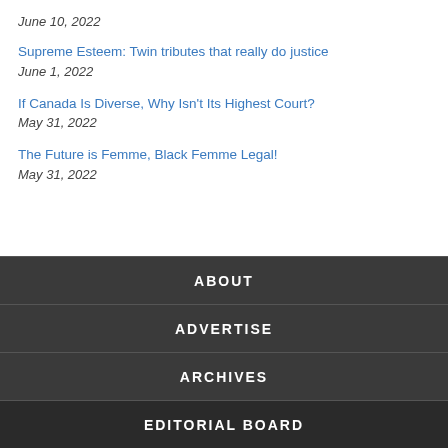June 10, 2022
Supreme Esteem: Twin tributes that really do justice
June 1, 2022
If Canada Is Diverse, Why Isn't Its Highest Court?
May 31, 2022
The Future is Femme, Black Femme Legal!
May 31, 2022
ABOUT
ADVERTISE
ARCHIVES
EDITORIAL BOARD